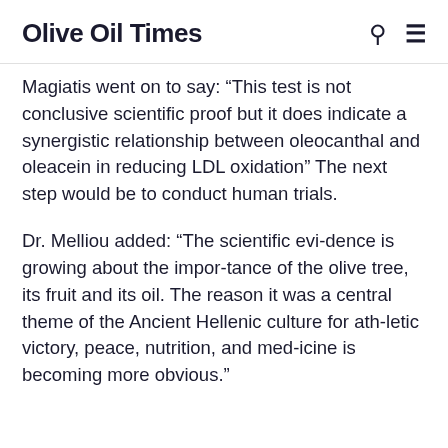Olive Oil Times
Magiatis went on to say: “This test is not conclusive scientific proof but it does indicate a synergistic relationship between oleocanthal and oleacein in reducing LDL oxidation” The next step would be to conduct human trials.
Dr. Melliou added: “The scientific evidence is growing about the importance of the olive tree, its fruit and its oil. The reason it was a central theme of the Ancient Hellenic culture for athletic victory, peace, nutrition, and medicine is becoming more obvious.”